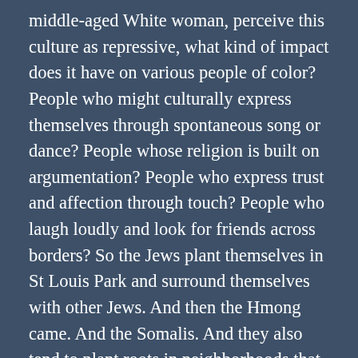middle-aged White woman, perceive this culture as repressive, what kind of impact does it have on various people of color? People who might culturally express themselves through spontaneous song or dance? People whose religion is built on argumentation? People who express trust and affection through touch? People who laugh loudly and look for friends across borders? So the Jews plant themselves in St Louis Park and surround themselves with other Jews. And then the Hmong came. And the Somalis. And they also tend to plant roots in neighborhoods that cater to their own culture. And why wouldn't they? I don't blame them, and I don't think it's all about the language or affinity bias. Minnesota, even Minneapolis/St. Paul, is dominated by a White, Christian culture in a way that Chicago and Los Angeles were not. Yes,